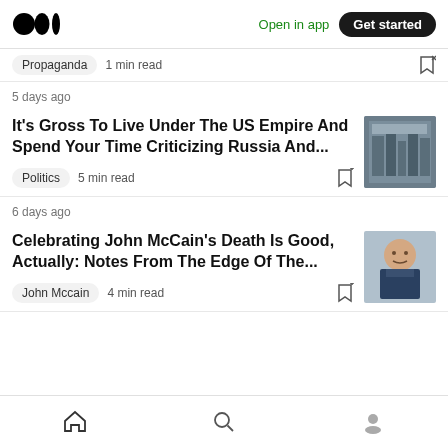Medium logo | Open in app | Get started
Propaganda  1 min read
5 days ago
It's Gross To Live Under The US Empire And Spend Your Time Criticizing Russia And...
Politics  5 min read
6 days ago
Celebrating John McCain's Death Is Good, Actually: Notes From The Edge Of The...
John Mccain  4 min read
Home | Search | Profile